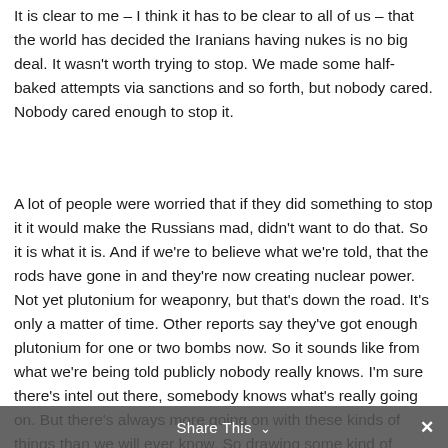It is clear to me – I think it has to be clear to all of us – that the world has decided the Iranians having nukes is no big deal. It wasn't worth trying to stop. We made some half-baked attempts via sanctions and so forth, but nobody cared. Nobody cared enough to stop it.
A lot of people were worried that if they did something to stop it it would make the Russians mad, didn't want to do that. So it is what it is. And if we're to believe what we're told, that the rods have gone in and they're now creating nuclear power. Not yet plutonium for weaponry, but that's down the road. It's only a matter of time. Other reports say they've got enough plutonium for one or two bombs now. So it sounds like from what we're being told publicly nobody really knows. I'm sure there's intel out there, somebody knows what's really going on. But there's always more going on with these kinds of things than we will ever know. So drawing some kind of conclusion from it is risky at best, but if they're nuclear, if the rods have been inserted, so to speak, then the conclusion is that the world didn't think it was that big a problem. We'll see.
Share This ˅